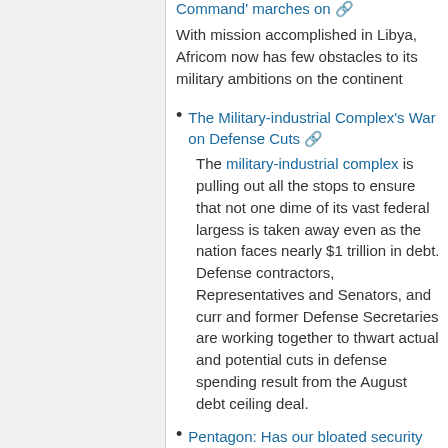With mission accomplished in Libya, Africom now has few obstacles to its military ambitions on the continent
The Military-industrial Complex's War on Defense Cuts
The military-industrial complex is pulling out all the stops to ensure that not one dime of its vast federal largess is taken away even as the nation faces nearly $1 trillion in debt. Defense contractors, Representatives and Senators, and current and former Defense Secretaries are working together to thwart actual and potential cuts in defense spending resulting from the August debt ceiling deal.
Pentagon: Has our bloated security budget made us safer?
We've spent nearly $8 trillion on